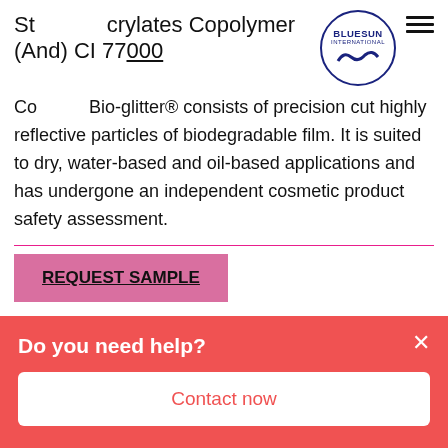St...crylates Copolymer (And) CI 77000
[Figure (logo): Bluesun International circular logo with wave graphic]
Co...Bio-glitter® consists of precision cut highly reflective particles of biodegradable film. It is suited to dry, water-based and oil-based applications and has undergone an independent cosmetic product safety assessment.
REQUEST SAMPLE
BIOGLITTER SPARKLE -
Do you need help?
Contact now